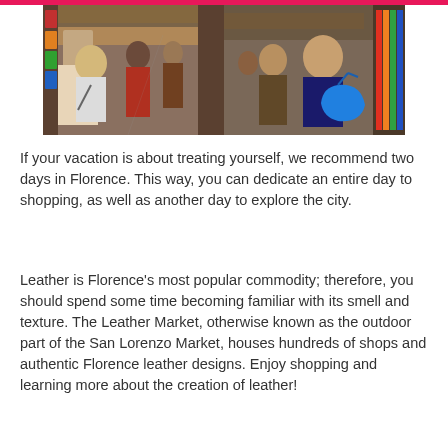[Figure (photo): Two side-by-side photos of a busy outdoor market street with shoppers and colorful leather bags and goods displayed on stalls]
If your vacation is about treating yourself, we recommend two days in Florence. This way, you can dedicate an entire day to shopping, as well as another day to explore the city.
Leather is Florence's most popular commodity; therefore, you should spend some time becoming familiar with its smell and texture. The Leather Market, otherwise known as the outdoor part of the San Lorenzo Market, houses hundreds of shops and authentic Florence leather designs. Enjoy shopping and learning more about the creation of leather!